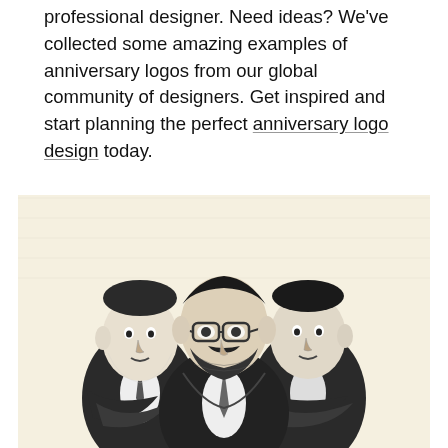professional designer. Need ideas? We've collected some amazing examples of anniversary logos from our global community of designers. Get inspired and start planning the perfect anniversary logo design today.
[Figure (illustration): Woodcut-style illustration on a cream/beige background showing three men in suits with arms crossed, depicted in a black-and-white engraving style. The central figure is taller with a beard and glasses, flanked by two shorter men.]